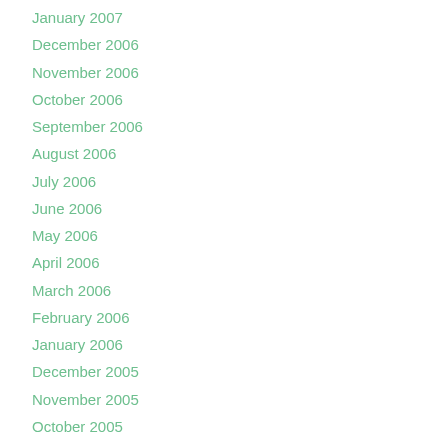January 2007
December 2006
November 2006
October 2006
September 2006
August 2006
July 2006
June 2006
May 2006
April 2006
March 2006
February 2006
January 2006
December 2005
November 2005
October 2005
September 2005